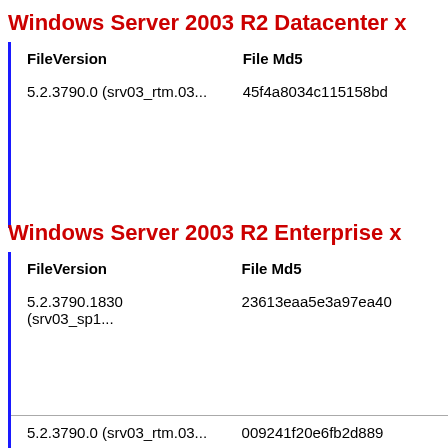Windows Server 2003 R2 Datacenter x
| FileVersion | File Md5 |
| --- | --- |
| 5.2.3790.0 (srv03_rtm.03... | 45f4a8034c115158bd |
Windows Server 2003 R2 Enterprise x
| FileVersion | File Md5 |
| --- | --- |
| 5.2.3790.1830 (srv03_sp1... | 23613eaa5e3a97ea40 |
| 5.2.3790.0 (srv03_rtm.03... | 009241f20e6fb2d889 |